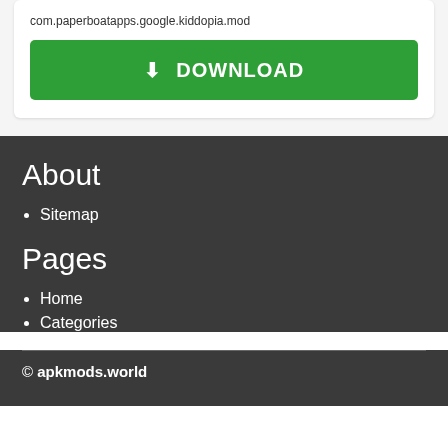com.paperboatapps.google.kiddopia.mod
DOWNLOAD
About
Sitemap
Pages
Home
Categories
© apkmods.world